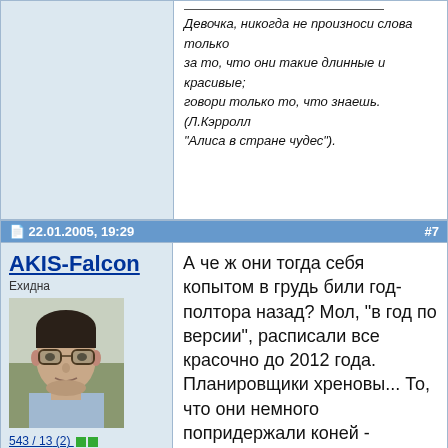Девочка, никогда не произноси слова только за то, что они такие длинные и красивые; говори только то, что знаешь. (Л.Кэрролл "Алиса в стране чудес").
22.01.2005, 19:29  #7
AKIS-Falcon
Ехидна
543 / 13 (2)
Регистрация: 22.06.2004
Адрес: Pincourt, Montreal, Canada
А че ж они тогда себя копытом в грудь били год-полтора назад? Мол, "в год по версии", расписали все красочно до 2012 года. Планировщики хреновы... То, что они немного попридержали коней - разумеется, правильно. Однако, чует мое сердце, что как только какой-нибудь САП вылезет с новым релизом и на всех выставках будет кричать о своих безмерных конкурентных преимуществах - то и Майкрософту дорваться за